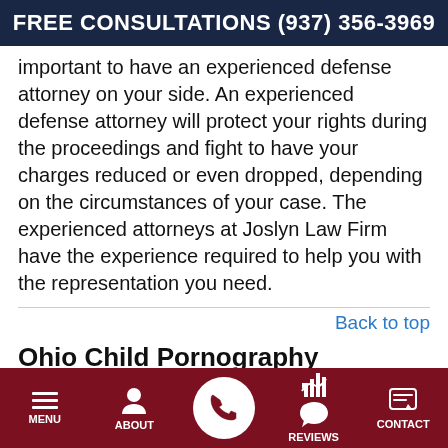FREE CONSULTATIONS (937) 356-3969
important to have an experienced defense attorney on your side. An experienced defense attorney will protect your rights during the proceedings and fight to have your charges reduced or even dropped, depending on the circumstances of your case. The experienced attorneys at Joslyn Law Firm have the experience required to help you with the representation you need.
Back to top
Ohio Child Pornography Resources
Dayton and the greater Ohio area have resources to assist in your defense and to prevent and report child
MENU   ABOUT   [call button]   REVIEWS   CONTACT